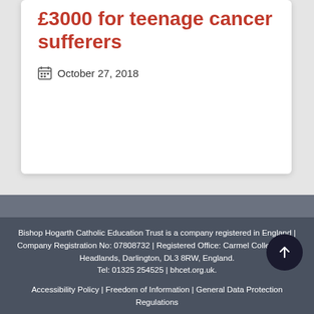£3000 for teenage cancer sufferers
October 27, 2018
Bishop Hogarth Catholic Education Trust is a company registered in England | Company Registration No: 07808732 | Registered Office: Carmel College, The Headlands, Darlington, DL3 8RW, England. Tel: 01325 254525 | bhcet.org.uk.
Accessibility Policy | Freedom of Information | General Data Protection Regulations